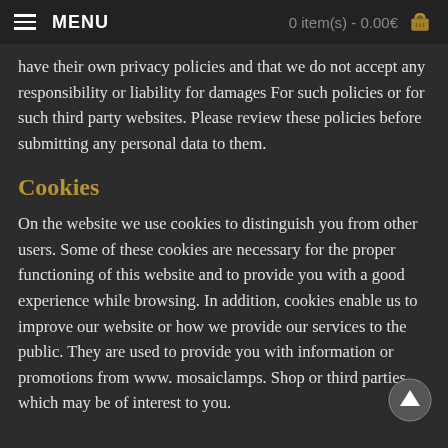MENU | 0 item(s) - 0.00€
have their own privacy policies and that we do not accept any responsibility or liability for damages For such policies or for such third party websites. Please review these policies before submitting any personal data to them.
Cookies
On the website we use cookies to distinguish you from other users. Some of these cookies are necessary for the proper functioning of this website and to provide you with a good experience while browsing. In addition, cookies enable us to improve our website or how we provide our services to the public. They are used to provide you with information or promotions from www. mosaiclamps. Shop or third parties, which may be of interest to you.